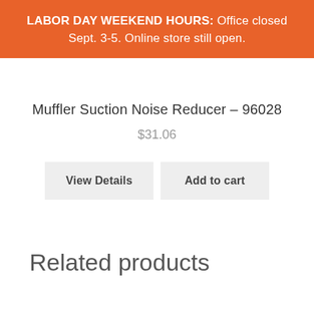LABOR DAY WEEKEND HOURS: Office closed Sept. 3-5. Online store still open.
Muffler Suction Noise Reducer – 96028
$31.06
View Details
Add to cart
Related products